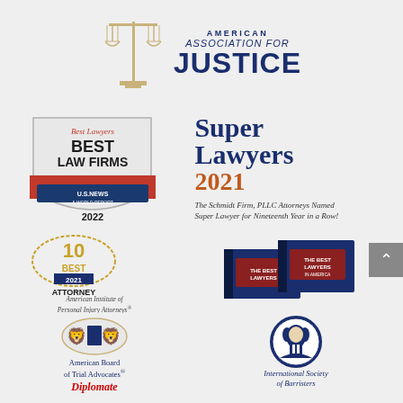[Figure (logo): American Association for Justice logo with scales of justice icon and text]
[Figure (logo): Best Lawyers Best Law Firms U.S. News & World Report 2022 badge]
[Figure (logo): Super Lawyers 2021 - The Schmidt Firm, PLLC Attorneys Named Super Lawyer for Nineteenth Year in a Row!]
[Figure (logo): 10 Best 2021 Attorney Client Satisfaction - American Institute of Personal Injury Attorneys badge]
[Figure (logo): The Best Lawyers in America book covers]
[Figure (logo): American Board of Trial Advocates Diplomate logo with heraldic crest]
[Figure (logo): International Society of Barristers circular logo with portrait]